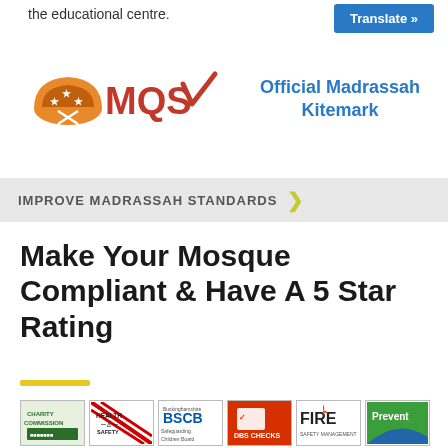the educational centre.
Translate »
[Figure (logo): MQS logo with orange/red lettering and checkmark, with dome icon]
Official Madrassah Kitemark
IMPROVE MADRASSAH STANDARDS ›
Make Your Mosque Compliant & Have A 5 Star Rating
[Figure (logo): Row of compliance logos: Charity Commission, Health & Safety, Buckinghamshire BSCB Safeguarding Children Board, DBS Checks, Fire Safety Management, Prevent]